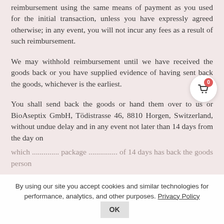reimbursement using the same means of payment as you used for the initial transaction, unless you have expressly agreed otherwise; in any event, you will not incur any fees as a result of such reimbursement.
We may withhold reimbursement until we have received the goods back or you have supplied evidence of having sent back the goods, whichever is the earliest.
You shall send back the goods or hand them over to us or BioAseptix GmbH, Tödistrasse 46, 8810 Horgen, Switzerland, without undue delay and in any event not later than 14 days from the day on which you ...
By using our site you accept cookies and similar technologies for performance, analytics, and other purposes. Privacy Policy OK